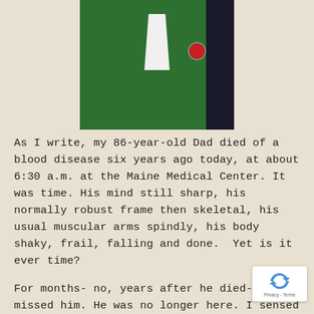[Figure (photo): Partial photo of a person wearing a green sweater with a badge/emblem, white collared shirt underneath, dark sleeve visible on right side. Only the torso/chest area is visible, cropped at top.]
As I write, my 86-year-old Dad died of a blood disease six years ago today, at about 6:30 a.m. at the Maine Medical Center. It was time. His mind still sharp, his normally robust frame then skeletal, his usual muscular arms spindly, his body shaky, frail, falling and done.  Yet is it ever time?
For months- no, years after he died- I missed him. He was no longer here. I sensed his absence everywhere. I'd go to his grave site in Westbrook, look at his head stone, feel the Earth under my feet and know his ashes we... below in the gorgeous wooden box one of my...